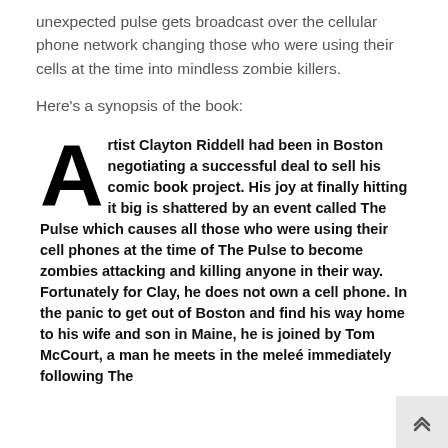unexpected pulse gets broadcast over the cellular phone network changing those who were using their cells at the time into mindless zombie killers.
Here's a synopsis of the book:
Artist Clayton Riddell had been in Boston negotiating a successful deal to sell his comic book project. His joy at finally hitting it big is shattered by an event called The Pulse which causes all those who were using their cell phones at the time of The Pulse to become zombies attacking and killing anyone in their way. Fortunately for Clay, he does not own a cell phone. In the panic to get out of Boston and find his way home to his wife and son in Maine, he is joined by Tom McCourt, a man he meets in the meleé immediately following The